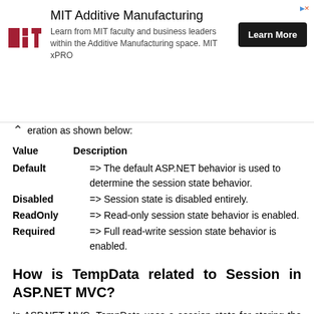[Figure (other): MIT Additive Manufacturing advertisement banner with MIT logo, text about learning from MIT faculty and business leaders in Additive Manufacturing space MIT xPRO, and a Learn More button]
eration as shown below:
| Value | Description |
| --- | --- |
| Default | => The default ASP.NET behavior is used to determine the session state behavior. |
| Disabled | => Session state is disabled entirely. |
| ReadOnly | => Read-only session state behavior is enabled. |
| Required | => Full read-write session state behavior is enabled. |
How is TempData related to Session in ASP.NET MVC?
In ASP.NET MVC, TempData uses a session state for storing the data values across requests. Hence, when you will disable the session state for the controller, it will throw the exception.